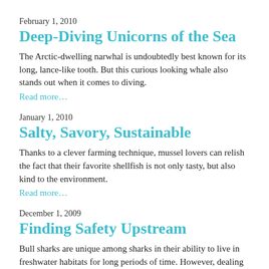February 1, 2010
Deep-Diving Unicorns of the Sea
The Arctic-dwelling narwhal is undoubtedly best known for its long, lance-like tooth. But this curious looking whale also stands out when it comes to diving.
Read more…
January 1, 2010
Salty, Savory, Sustainable
Thanks to a clever farming technique, mussel lovers can relish the fact that their favorite shellfish is not only tasty, but also kind to the environment.
Read more…
December 1, 2009
Finding Safety Upstream
Bull sharks are unique among sharks in their ability to live in freshwater habitats for long periods of time. However, dealing with changes in salinity is very taxing on their bodies, prompting scientists to wonder why these sharks venture